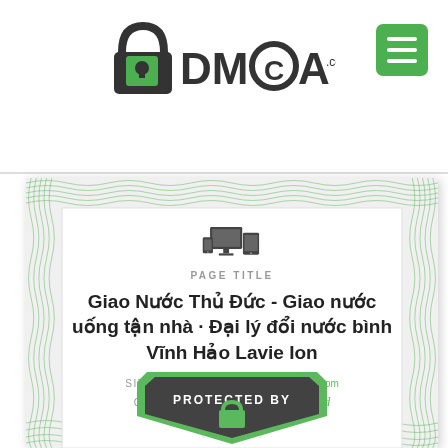[Figure (logo): DMCA.com logo with padlock icon]
[Figure (screenshot): DMCA compliance certificate for giaonuocthuduc.com showing PAGE TITLE, site title in Vietnamese, site report, compliance status Confirmed, and Protected By shield badge]